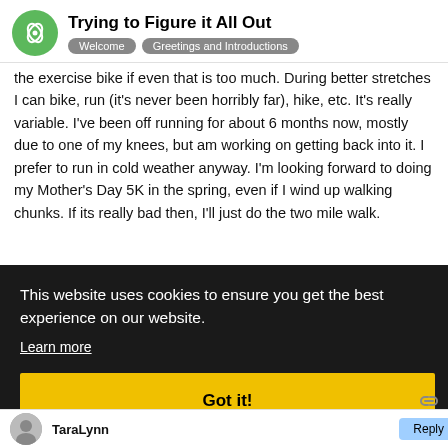Trying to Figure it All Out | Welcome | Greetings and Introductions
the exercise bike if even that is too much. During better stretches I can bike, run (it's never been horribly far), hike, etc. It's really variable. I've been off running for about 6 months now, mostly due to one of my knees, but am working on getting back into it. I prefer to run in cold weather anyway. I'm looking forward to doing my Mother's Day 5K in the spring, even if I wind up walking chunks. If its really bad then, I'll just do the two mile walk.
This website uses cookies to ensure you get the best experience on our website. Learn more
Got it!
TaraLynn